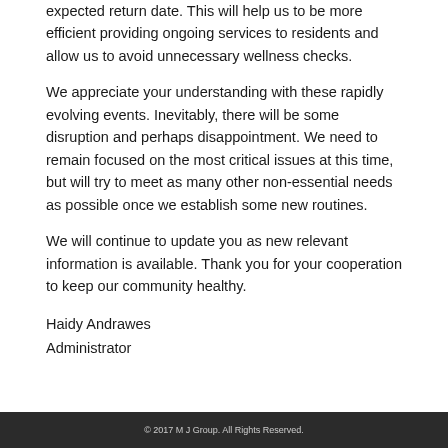expected return date. This will help us to be more efficient providing ongoing services to residents and allow us to avoid unnecessary wellness checks.
We appreciate your understanding with these rapidly evolving events. Inevitably, there will be some disruption and perhaps disappointment. We need to remain focused on the most critical issues at this time, but will try to meet as many other non-essential needs as possible once we establish some new routines.
We will continue to update you as new relevant information is available. Thank you for your cooperation to keep our community healthy.
Haidy Andrawes
Administrator
© 2017 M J Group. All Rights Reserved.